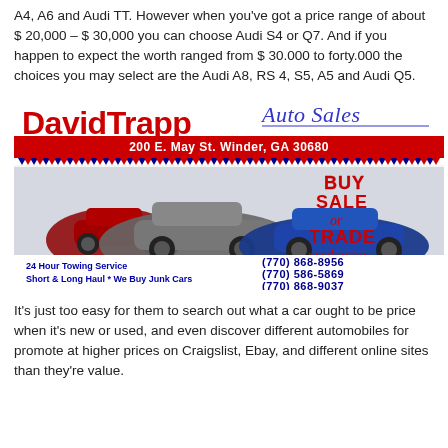A4, A6 and Audi TT. However when you've got a price range of about $ 20,000 – $ 30,000 you can choose Audi S4 or Q7. And if you happen to expect the worth ranged from $ 30.000 to forty.000 the choices you may select are the Audi A8, RS 4, S5, A5 and Audi Q5.
[Figure (advertisement): David Trapp Auto Sales advertisement with logo, cars (red, grey, blue), buy/sale/trade text, phone numbers and towing service info]
It's just too easy for them to search out what a car ought to be price when it's new or used, and even discover different automobiles for promote at higher prices on Craigslist, Ebay, and different online sites than they're value.